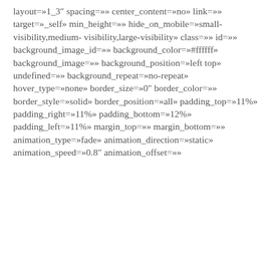layout=»1_3″ spacing=»» center_content=»no» link=»» target=»_self» min_height=»» hide_on_mobile=»small-visibility,medium-visibility,large-visibility» class=»» id=»» background_image_id=»» background_color=»#ffffff» background_image=»» background_position=»left top» undefined=»» background_repeat=»no-repeat» hover_type=»none» border_size=»0″ border_color=»» border_style=»solid» border_position=»all» padding_top=»11%» padding_right=»11%» padding_bottom=»12%» padding_left=»11%» margin_top=»» margin_bottom=»» animation_type=»fade» animation_direction=»static» animation_speed=»0.8″ animation_offset=»»